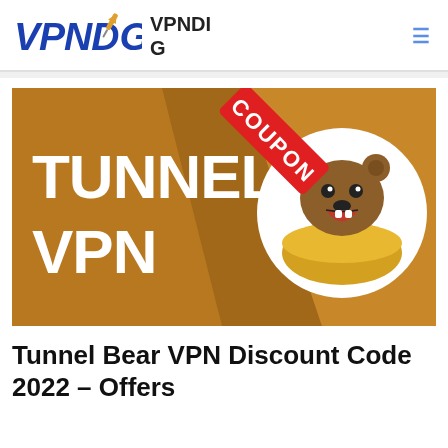VPNDIG
[Figure (illustration): TunnelBear VPN coupon banner: golden-brown background with large white bold text 'TUNNEL VPN', a red diagonal coupon badge labeled 'COUPON', and a TunnelBear logo (cartoon bear in a golden bowl) in a white circle on the right.]
Tunnel Bear VPN Discount Code 2022 – Offers